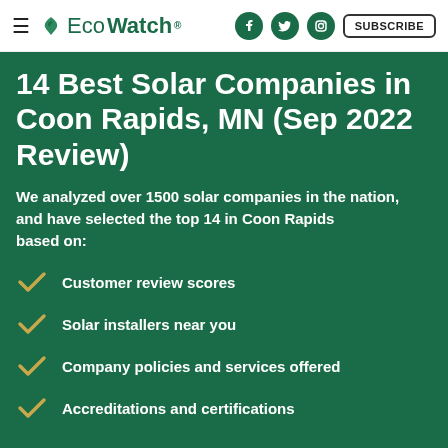≡ EcoWatch® | social icons | SUBSCRIBE
14 Best Solar Companies in Coon Rapids, MN (Sep 2022 Review)
We analyzed over 1500 solar companies in the nation, and have selected the top 14 in Coon Rapids based on:
Customer review scores
Solar installers near you
Company policies and services offered
Accreditations and certifications